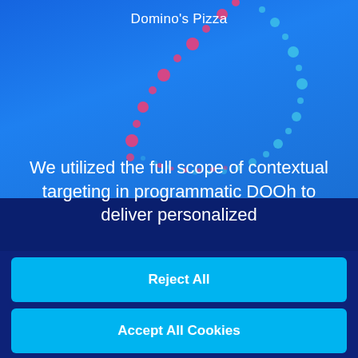[Figure (illustration): Decorative dotted arc pattern in pink and light blue on a blue gradient background, partial circle/smile shape made of colored dots. Domino's Pizza label above.]
Domino's Pizza
We utilized the full scope of contextual targeting in programmatic DOOh to deliver personalized
This website uses cookies, some of which are "Strictly Necessary" for the operation of the website while others are optional and used for marketing, analyzing the website traffic, sharing content on social media or for enhancing the functionality of the website.
Cookie Settings
Reject All
Accept All Cookies